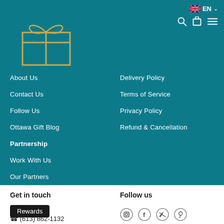[Figure (logo): Givopoly logo - gift box with bow outline in gold/tan color with GIVOPOLY text below]
[Figure (other): Top right: UK flag with EN label and dropdown arrow, plus search, cart, and hamburger menu icons]
About Us
Contact Us
Follow Us
Ottawa Gift Blog
Partnership
Work With Us
Our Partners
Join us!
Partners Blog
Delivery Policy
Terms of Service
Privacy Policy
Refund & Cancellation
Get in touch
Follow us
Rewards
(613) 862-1132